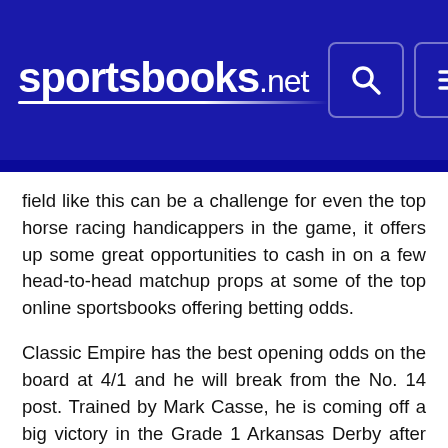sportsbooks.net
field like this can be a challenge for even the top horse racing handicappers in the game, it offers up some great opportunities to cash in on a few head-to-head matchup props at some of the top online sportsbooks offering betting odds.
Classic Empire has the best opening odds on the board at 4/1 and he will break from the No. 14 post. Trained by Mark Casse, he is coming off a big victory in the Grade 1 Arkansas Derby after first catching the eye of bettors as the champion two-year old. The second-favorite breaking from the No. 5 post is trainer Todd